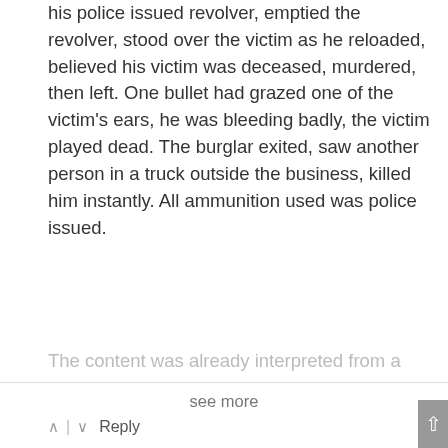his police issued revolver, emptied the revolver, stood over the victim as he reloaded, believed his victim was deceased, murdered, then left. One bullet had grazed one of the victim's ears, he was bleeding badly, the victim played dead. The burglar exited, saw another person in a truck outside the business, killed him instantly. All ammunition used was police issued.
see more
^ | v Reply
Kerrie Pruitt
6 years ago
My heart and prayers go out to this officer's family, and his law enforcement brothers and sisters.
My only question is, what does this tragic event have to do with the DAPL protestors?
These are completely unrelated and extremely poor, and very insensitive journalism.
It's like you used this loss of a wonderful human being and community protestors to sensationalized the DAPL spotlight